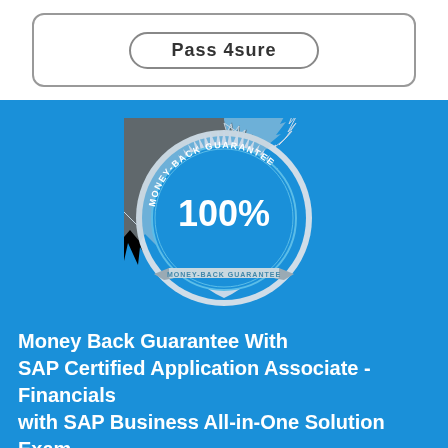[Figure (other): A button/badge element with rounded rectangle border containing text, partially visible at top of page]
[Figure (illustration): Money-Back Guarantee badge/seal. A circular blue badge with silver starburst border. Text reads 'MONEY-BACK GUARANTEE' around the top arc, '100%' in large text in the center, and 'MONEY-BACK GUARANTEE' on a silver ribbon banner at the bottom.]
Money Back Guarantee With SAP Certified Application Associate - Financials with SAP Business All-in-One Solution Exam C_A1FIN_10 Dumps
We are providing free SAP C_A1FIN_10 practice questions answers that show the quality of our C_A1FIN_10 exam dumps. We ensure you that Exam4Lead is one of the most reliable website for SAP C_A1FIN_10 exam preparation.